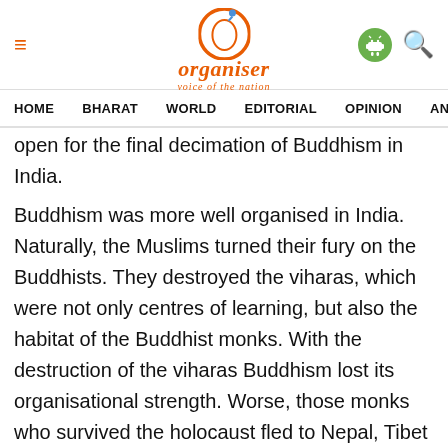Organiser — voice of the nation
HOME  BHARAT  WORLD  EDITORIAL  OPINION  ANA...
open for the final decimation of Buddhism in India.
Buddhism was more well organised in India. Naturally, the Muslims turned their fury on the Buddhists. They destroyed the viharas, which were not only centres of learning, but also the habitat of the Buddhist monks. With the destruction of the viharas Buddhism lost its organisational strength. Worse, those monks who survived the holocaust fled to Nepal, Tibet and South India. It is unfortunate that no Buddhist scholar has ever tried to go into this subject.
The Buddha was highly vanerated by the Kshatriya